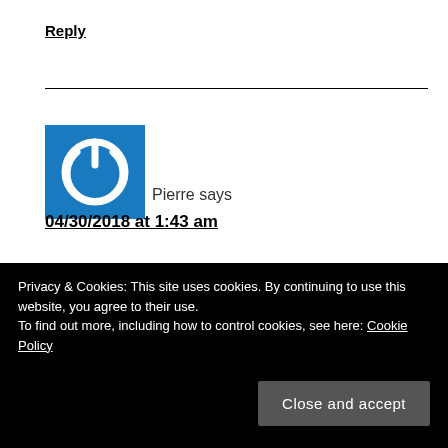Reply
[Figure (illustration): Blue square avatar with white power button icon]
Pierre says
04/30/2018 at 1:43 am
it ismind boggling that we had to wait 15 years for such a basic yet important information to be
Privacy & Cookies: This site uses cookies. By continuing to use this website, you agree to their use.
To find out more, including how to control cookies, see here: Cookie Policy
Close and accept